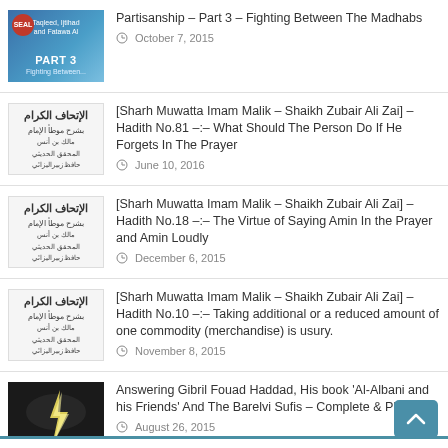Partisanship – Part 3 – Fighting Between The Madhabs
October 7, 2015
[Sharh Muwatta Imam Malik – Shaikh Zubair Ali Zai] – Hadith No.81 –:– What Should The Person Do If He Forgets In The Prayer
June 10, 2016
[Sharh Muwatta Imam Malik – Shaikh Zubair Ali Zai] – Hadith No.18 –:– The Virtue of Saying Amin In the Prayer and Amin Loudly
December 6, 2015
[Sharh Muwatta Imam Malik – Shaikh Zubair Ali Zai] – Hadith No.10 –:– Taking additional or a reduced amount of one commodity (merchandise) is usury.
November 8, 2015
Answering Gibril Fouad Haddad, His book 'Al-Albani and his Friends' And The Barelvi Sufis – Complete & PDF
August 26, 2015